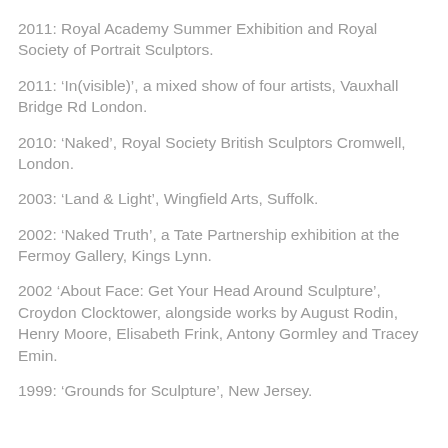2011: Royal Academy Summer Exhibition and Royal Society of Portrait Sculptors.
2011: ‘In(visible)’, a mixed show of four artists, Vauxhall Bridge Rd London.
2010: ‘Naked’, Royal Society British Sculptors Cromwell, London.
2003: ‘Land & Light’, Wingfield Arts, Suffolk.
2002: ‘Naked Truth’, a Tate Partnership exhibition at the Fermoy Gallery, Kings Lynn.
2002 ‘About Face: Get Your Head Around Sculpture’, Croydon Clocktower, alongside works by August Rodin, Henry Moore, Elisabeth Frink, Antony Gormley and Tracey Emin.
1999: ‘Grounds for Sculpture’, New Jersey.